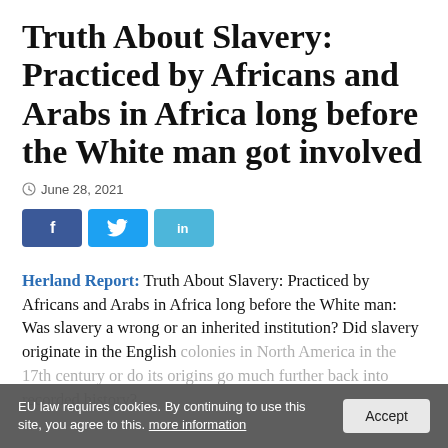Truth About Slavery: Practiced by Africans and Arabs in Africa long before the White man got involved
June 28, 2021
[Figure (other): Social media sharing buttons: Facebook (f), Twitter (bird icon), LinkedIn (in)]
Herland Report: Truth About Slavery: Practiced by Africans and Arabs in Africa long before the White man: Was slavery a wrong or an inherited institution? Did slavery originate in the English colonies in North America in the 17th century or do its origins go much further back into recorded history?
EU law requires cookies. By continuing to use this site, you agree to this. more information   Accept